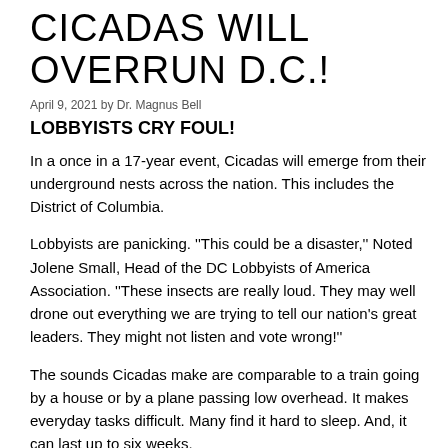CICADAS WILL OVERRUN D.C.!
April 9, 2021 by Dr. Magnus Bell
LOBBYISTS CRY FOUL!
In a once in a 17-year event, Cicadas will emerge from their underground nests across the nation. This includes the District of Columbia.
Lobbyists are panicking. ''This could be a disaster,'' Noted Jolene Small, Head of the DC Lobbyists of America Association. ''These insects are really loud. They may well drone out everything we are trying to tell our nation's great leaders. They might not listen and vote wrong!''
The sounds Cicadas make are comparable to a train going by a house or by a plane passing low overhead. It makes everyday tasks difficult. Many find it hard to sleep. And, it can last up to six weeks.